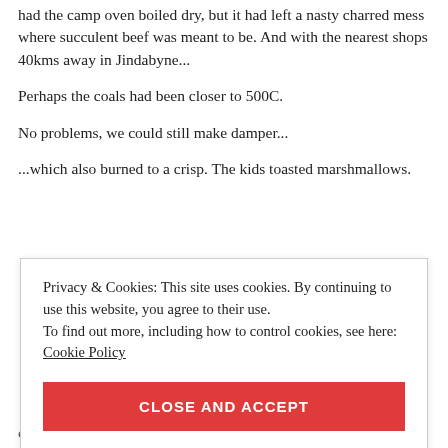At the 20 minute mark we checked it. Disaster. Not only had the camp oven boiled dry, but it had left a nasty charred mess where succulent beef was meant to be. And with the nearest shops 40kms away in Jindabyne...
Perhaps the coals had been closer to 500C.
No problems, we could still make damper...
...which also burned to a crisp. The kids toasted marshmallows.
Privacy & Cookies: This site uses cookies. By continuing to use this website, you agree to their use.
To find out more, including how to control cookies, see here: Cookie Policy
CLOSE AND ACCEPT
oven...which then had to be cleaned.